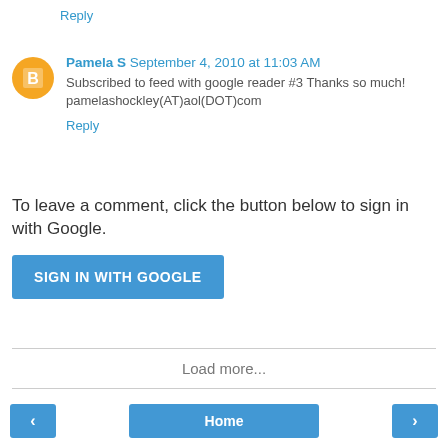Reply
Pamela S September 4, 2010 at 11:03 AM
Subscribed to feed with google reader #3 Thanks so much! pamelashockley(AT)aol(DOT)com
Reply
To leave a comment, click the button below to sign in with Google.
SIGN IN WITH GOOGLE
Load more...
Home